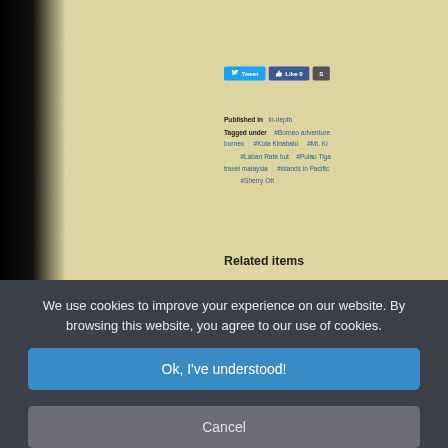[Figure (screenshot): Screenshot of a travel blog webpage showing social sharing buttons (Tweet, Like 0), metadata tags (Published in: in-depth, Tagged under: #Borneo adventure, #borneo, #Kota Kinabalu, #Mt. Ki..., #Laban Rata hut, #Pulau Tiga, #travel malaysia, #islands in Pacific, #Sherry Ott), and a 'Related items' heading. The background is a parchment-textured image with a black left edge. A cookie consent overlay is displayed at the bottom.]
Published in  in-depth
Tagged under    #Borneo adventure    #borneo    #Kota Kinabalu    #Mt. Ki    #Laban Rata hut    #Pulau Tiga    #travel malaysia    #islands in Pacific    #Sherry Ott
Related items
We use cookies to improve your experience on our website. By browsing this website, you agree to our use of cookies.
Ok, I've understood!
Cancel